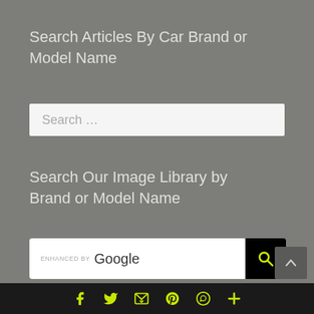Search Articles By Car Brand or Model Name
[Figure (screenshot): Search input box with placeholder text 'Search ...']
Search Our Image Library by Brand or Model Name
[Figure (screenshot): Google enhanced search bar with search button]
Article Categories Dropdown
[Figure (infographic): Footer bar with social media icons: Facebook, Twitter, email/share, Pinterest, WhatsApp, and plus sign in yellow on dark background]